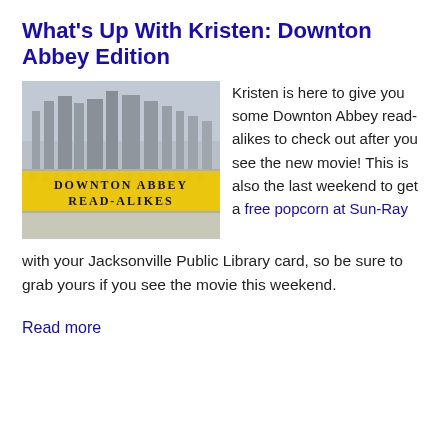What's Up With Kristen: Downton Abbey Edition
[Figure (illustration): Grayscale image of Downton Abbey castle with a yellow banner overlay reading 'DOWNTON ABBEY READ-ALIKES']
Kristen is here to give you some Downton Abbey read-alikes to check out after you see the new movie! This is also the last weekend to get a free popcorn at Sun-Ray with your Jacksonville Public Library card, so be sure to grab yours if you see the movie this weekend.
Read more